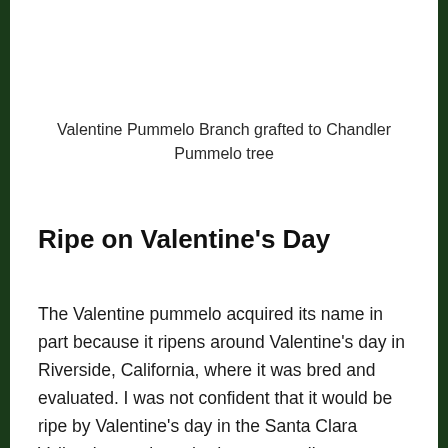Valentine Pummelo Branch grafted to Chandler Pummelo tree
Ripe on Valentine's Day
The Valentine pummelo acquired its name in part because it ripens around Valentine’s day in Riverside, California, where it was bred and evaluated. I was not confident that it would be ripe by Valentine’s day in the Santa Clara Valley, but we have had an unusually warm winter, so I decided to pick it on Valentine’s day as a special